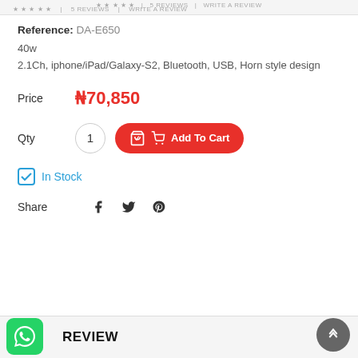★★★★★ | 5 REVIEWS | WRITE A REVIEW
Reference: DA-E650
40w
2.1Ch, iphone/iPad/Galaxy-S2, Bluetooth, USB, Horn style design
Price ₦70,850
Qty 1 Add To Cart
In Stock
Share
REVIEW